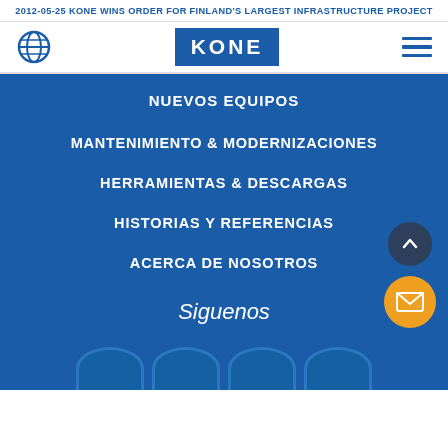2012-05-25 KONE WINS ORDER FOR FINLAND'S LARGEST INFRASTRUCTURE PROJECT
[Figure (logo): KONE logo in blue square with white text]
NUEVOS EQUIPOS
MANTENIMIENTO & MODERNIZACIONES
HERRAMIENTAS & DESCARGAS
HISTORIAS Y REFERENCIAS
ACERCA DE NOSOTROS
Siguenos